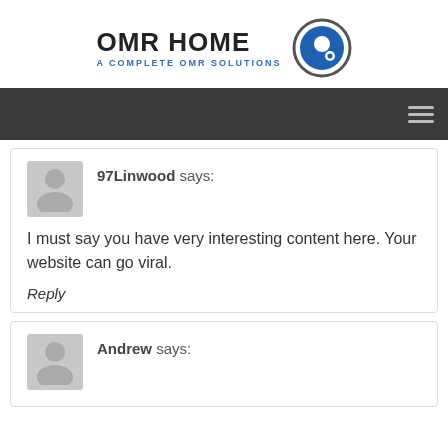[Figure (logo): OMR HOME logo with text 'OMR HOME' in bold and 'A COMPLETE OMR SOLUTIONS' in blue, with a circular icon showing a stylized OMR mark]
97Linwood says:
I must say you have very interesting content here. Your website can go viral.
Reply
Andrew says: